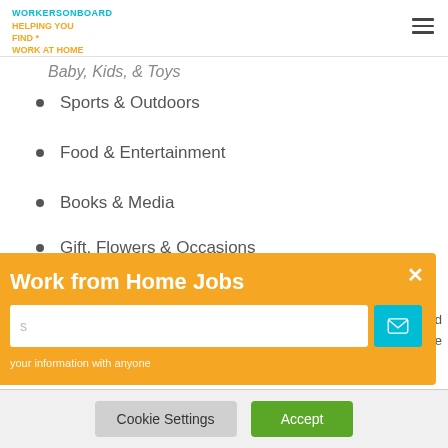WORKERSONBOARD
HELPING YOU FIND * WORK AT HOME
Baby, Kids, & Toys (partial)
Sports & Outdoors
Food & Entertainment
Books & Media
Gift, Flowers & Occasions
Subscription Boxes & Services
Work from Home Jobs
your information with anyone
Cookie Settings  Accept